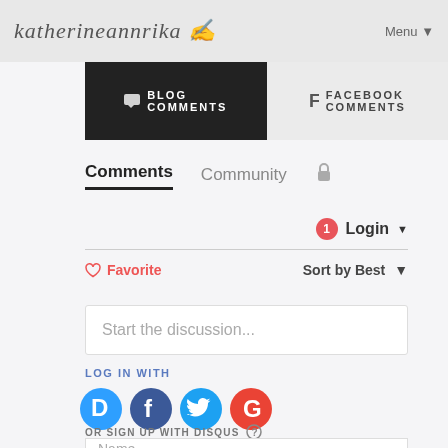katherineannrika   Menu
💬 BLOG COMMENTS
f FACEBOOK COMMENTS
Comments   Community   🔒
1  Login ▾
♡ Favorite   Sort by Best ▾
Start the discussion...
LOG IN WITH
[Figure (logo): Social login icons: Disqus (blue D), Facebook (dark blue f), Twitter (light blue bird), Google (red G)]
OR SIGN UP WITH DISQUS ?
Name